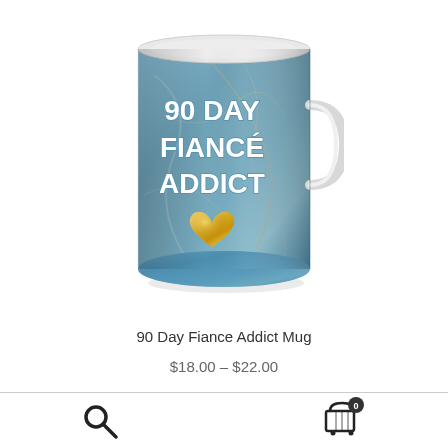[Figure (photo): A white ceramic mug with blue marble texture design. The mug has bold white text reading '90 DAY FIANCÉ ADDICT' with a 3D golden heart below the text.]
90 Day Fiance Addict Mug
$18.00 – $22.00